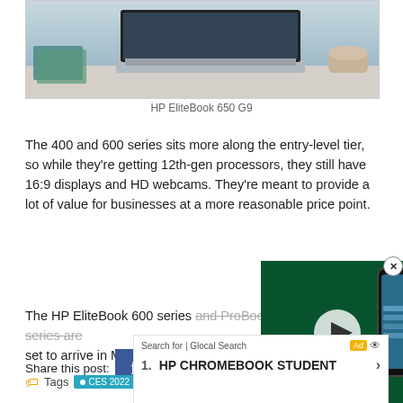[Figure (photo): HP EliteBook 650 G9 laptop on a desk with a coffee cup and notebooks in background]
HP EliteBook 650 G9
The 400 and 600 series sits more along the entry-level tier, so while they're getting 12th-gen processors, they still have 16:9 displays and HD webcams. They're meant to provide a lot of value for businesses at a more reasonable price point.
The HP EliteBook 600 series and ProBook 400 series are set to arrive in March with prici...
Share this post:
[Figure (screenshot): Video overlay showing a phone with VILLAIN? text and play button, plus a close button]
Tags   • CES 2022   • HP   • HP Elite Dragonfly Chromebook
[Figure (screenshot): Ad overlay: Search for | Glocal Search — 1. HP CHROMEBOOK STUDENT >]